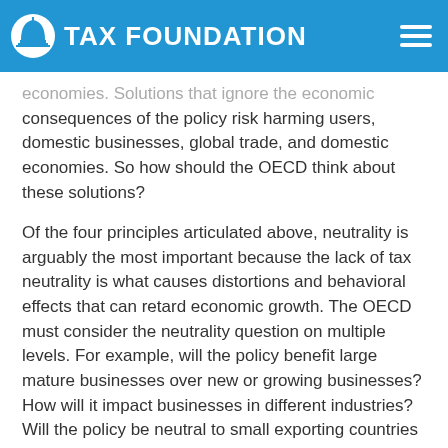TAX FOUNDATION
economies. Solutions that ignore the economic consequences of the policy risk harming users, domestic businesses, global trade, and domestic economies. So how should the OECD think about these solutions?
Of the four principles articulated above, neutrality is arguably the most important because the lack of tax neutrality is what causes distortions and behavioral effects that can retard economic growth. The OECD must consider the neutrality question on multiple levels. For example, will the policy benefit large mature businesses over new or growing businesses? How will it impact businesses in different industries? Will the policy be neutral to small exporting countries and large market countries alike?
The OECD must also attempt to measure the potential